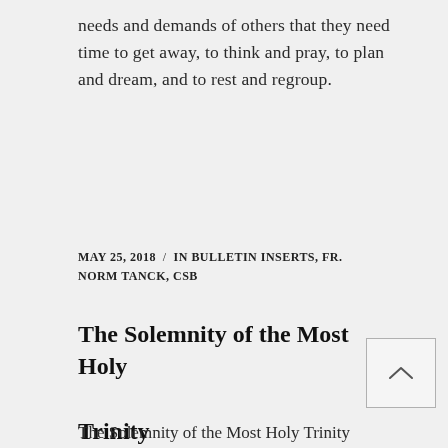needs and demands of others that they need time to get away, to think and pray, to plan and dream, and to rest and regroup.
MAY 25, 2018  /  IN BULLETIN INSERTS, FR. NORM TANCK, CSB
The Solemnity of the Most Holy Trinity
The Solemnity of the Most Holy Trinity